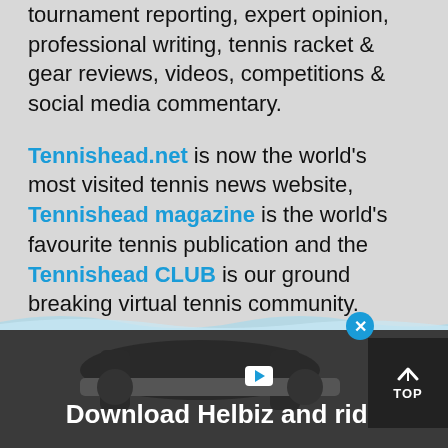tournament reporting, expert opinion, professional writing, tennis racket & gear reviews, videos, competitions & social media commentary.
Tennishead.net is now the world's most visited tennis news website, Tennishead magazine is the world's favourite tennis publication and the Tennishead CLUB is our ground breaking virtual tennis community.
Because TENNIS IS EVERYTHING!
[Figure (logo): Twitter bird icon in light gray]
[Figure (photo): Advertisement banner: Download Helbiz and ride, showing bicycle handlebars]
[Figure (other): TOP button overlay and close button overlay]